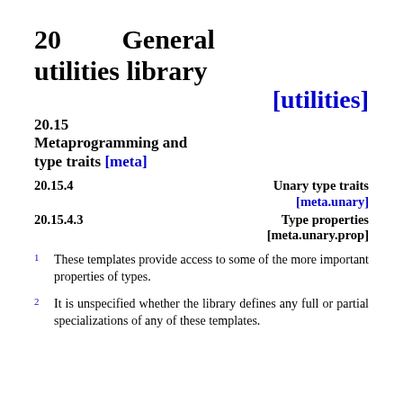20   General utilities library [utilities]
20.15 Metaprogramming and type traits [meta]
20.15.4   Unary type traits [meta.unary]
20.15.4.3   Type properties [meta.unary.prop]
1  These templates provide access to some of the more important properties of types.
2  It is unspecified whether the library defines any full or partial specializations of any of these templates.